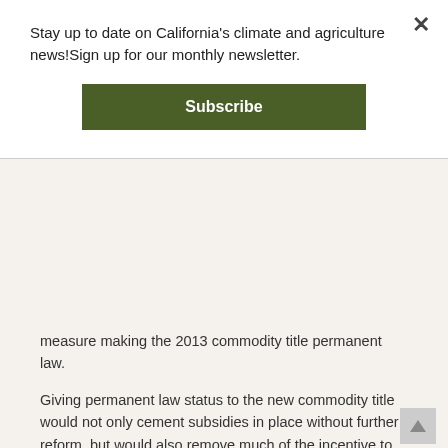Stay up to date on California's climate and agriculture news!Sign up for our monthly newsletter.
Subscribe
measure making the 2013 commodity title permanent law.
Giving permanent law status to the new commodity title would not only cement subsidies in place without further reform, but would also remove much of the incentive to ever pass a new farm bill in the future, leaving farm conservation, agricultural research, rural development, and other programs that sunset with each farm bill cycle vulnerable to extinction. NSAC believes farm programs of all types and stripes should be subject to the same rules with respect to sunsets.